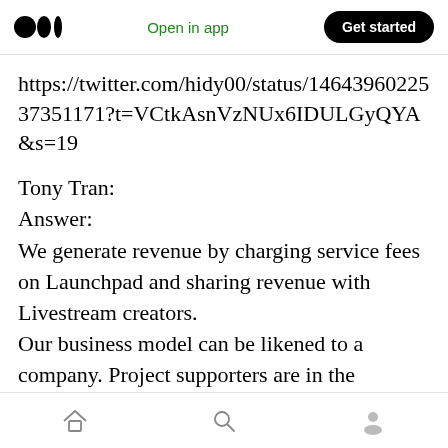Open in app | Get started
https://twitter.com/hidy00/status/1464396022537351171?t=VCtkAsnVzNUx6IDULGyQYA&s=19
Tony Tran:
Answer:
We generate revenue by charging service fees on Launchpad and sharing revenue with Livestream creators.
Our business model can be likened to a company. Project supporters are in the Community Department.
Home | Search | Profile